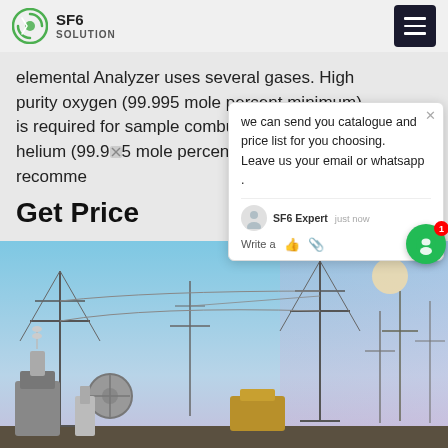SF6 SOLUTION
elemental Analyzer uses several gases. High purity oxygen (99.995 mole percent minimum) is required for sample combustion. Prepurified helium (99.995 mole percent minimum is recommended
Get Price
we can send you catalogue and price list for you choosing. Leave us your email or whatsapp .
SF6 Expert  just now
Write a
[Figure (photo): Electrical substation with high-voltage equipment, transformers, insulators, and transmission towers against a sky background with purple haze]